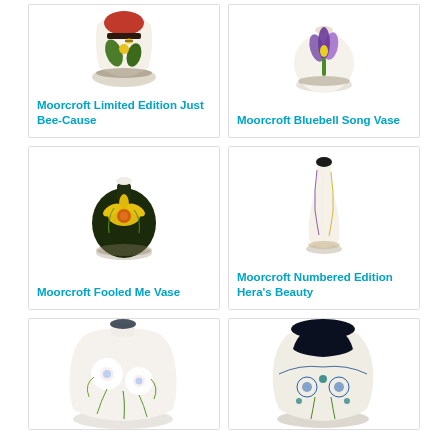[Figure (photo): Moorcroft Limited Edition Just Bee-Cause ceramic vase with bee and floral design, red and cream coloring]
Moorcroft Limited Edition Just Bee-Cause
[Figure (photo): Moorcroft Bluebell Song Vase with purple iris and yellow flower design on cream background]
Moorcroft Bluebell Song Vase
[Figure (photo): Moorcroft Fooled Me Vase with yellow daffodil design on dark green/black background]
Moorcroft Fooled Me Vase
[Figure (photo): Moorcroft Numbered Edition Hera's Beauty tall slender vase with purple and yellow stripe design on cream]
Moorcroft Numbered Edition Hera's Beauty
[Figure (photo): Moorcroft vase with white anemone flowers and green swirling design on cream background]
[Figure (photo): Moorcroft vase with dark blue/black and blue floral geometric design]